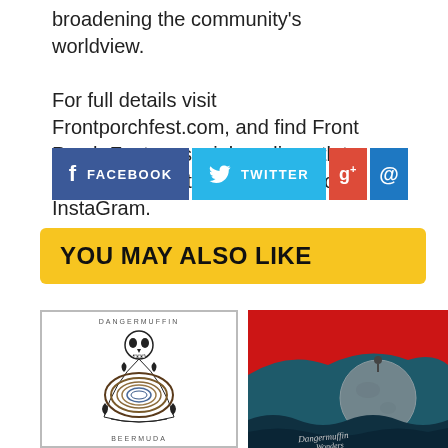broadening the community's worldview.
For full details visit Frontporchfest.com, and find Front Porch Fest on social media outlets Facebook, Twitter, and #FPF8 on InstaGram.
[Figure (infographic): Social media share buttons: Facebook (blue), Twitter (light blue), Google+ (red), @ email (dark blue)]
YOU MAY ALSO LIKE
[Figure (illustration): Dangermuffin Beermuda album cover — black and white illustration with skull and swirling mandala design]
[Figure (illustration): Dangermuffin album cover with moon over red sky and dark waves, cursive text]